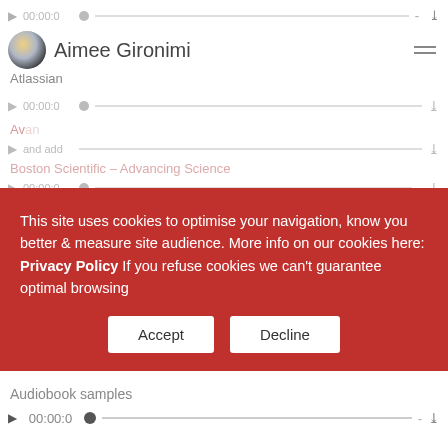[Figure (screenshot): Audio player interface showing profile with avatar, name Aimee Gironimi, company Atlassian, and multiple audio tracks with play buttons and progress bars]
This site uses cookies to optimise your navigation, know you better & measure site audience. More info on our cookies here: Privacy Policy If you refuse cookies we can't guarantee optimal browsing
Accept
Decline
Audiobook samples
Mental health TV spot